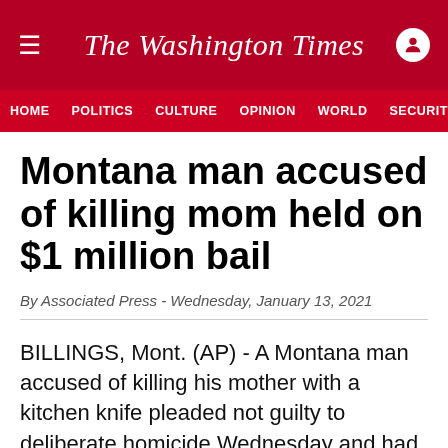The Washington Times
HOME  POLITICS  CULTURE  OPINION  WORLD  SECURITY
Montana man accused of killing mom held on $1 million bail
By Associated Press - Wednesday, January 13, 2021
BILLINGS, Mont. (AP) - A Montana man accused of killing his mother with a kitchen knife pleaded not guilty to deliberate homicide Wednesday and had his bail set at $1 million.